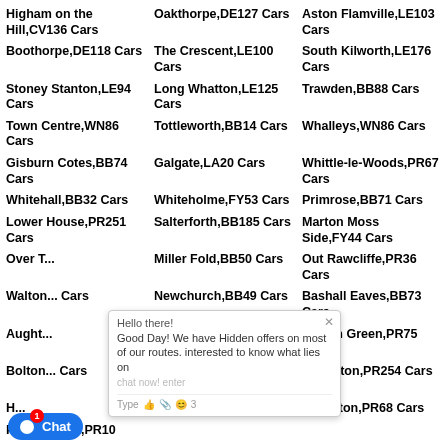Higham on the Hill,CV136 Cars
Oakthorpe,DE127 Cars
Aston Flamville,LE103 Cars
Boothorpe,DE118 Cars
The Crescent,LE100 Cars
South Kilworth,LE176 Cars
Stoney Stanton,LE94 Cars
Long Whatton,LE125 Cars
Trawden,BB88 Cars
Town Centre,WN86 Cars
Tottleworth,BB14 Cars
Whalleys,WN86 Cars
Gisburn Cotes,BB74 Cars
Galgate,LA20 Cars
Whittle-le-Woods,PR67 Cars
Whitehall,BB32 Cars
Whiteholme,FY53 Cars
Primrose,BB71 Cars
Lower House,PR251 Cars
Salterforth,BB185 Cars
Marton Moss Side,FY44 Cars
Over T... Cars
Miller Fold,BB50 Cars
Out Rawcliffe,PR36 Cars
Walton... Cars
Newchurch,BB49 Cars
Bashall Eaves,BB73 Cars
Aught... Cars
Knuzden Brook,BB12 Cars
Heskin Green,PR75 Cars
Bolton... Cars
Tarleton Moss,PR46 Cars
Farington,PR254 Cars
H...
Inskip Moss Side,PR40
Wheelton,PR68 Cars
Penwortham,PR10